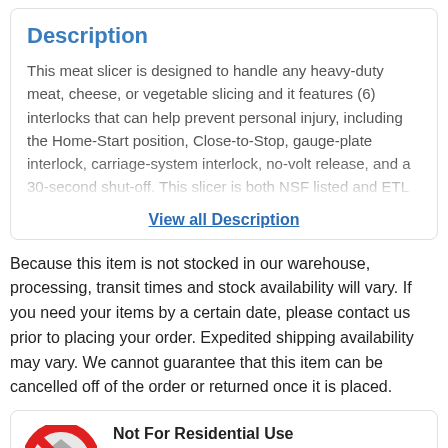Description
This meat slicer is designed to handle any heavy-duty meat, cheese, or vegetable slicing and it features (6) interlocks that can help prevent personal injury, including the Home-Start position, Close-to-Stop, gauge-plate interlock, carriage-system interlock, no-volt release, and a 30-second shut-off. This slicer is both NSF listed and ETL
View all Description
Because this item is not stocked in our warehouse, processing, transit times and stock availability will vary. If you need your items by a certain date, please contact us prior to placing your order. Expedited shipping availability may vary. We cannot guarantee that this item can be cancelled off of the order or returned once it is placed.
[Figure (illustration): Red circle with a diagonal line through it (no entry / prohibition symbol) overlaid on a house icon, indicating not for residential use]
Not For Residential Use
Installed in a non-commercial setting will void your homeowner's insurance and the equipment